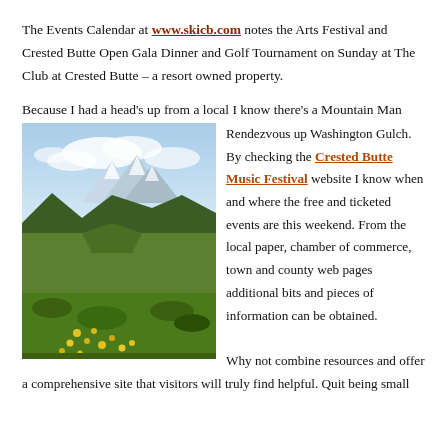The Events Calendar at www.skicb.com notes the Arts Festival and Crested Butte Open Gala Dinner and Golf Tournament on Sunday at The Club at Crested Butte – a resort owned property.
Because I had a head's up from a local I know there's a Mountain Man Rendezvous up Washington Gulch. By checking the Crested Butte Music Festival website I know when and where the free and ticketed events are this weekend. From the local paper, chamber of commerce, town and county web pages additional bits and pieces of information can be obtained.
[Figure (photo): Mountain valley landscape with green meadows, wildflowers in foreground, forested slopes and snow-capped peaks under a partly cloudy sky.]
Why not combine resources and offer a comprehensive site that visitors will truly find helpful. Quit being small